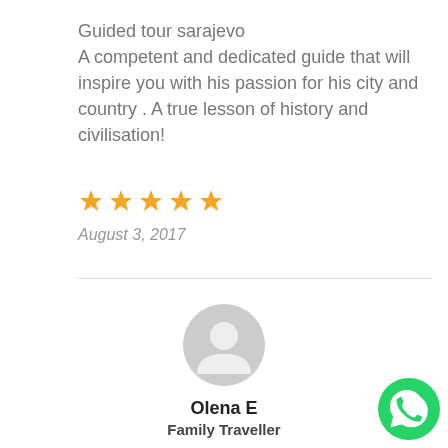Guided tour sarajevo
A competent and dedicated guide that will inspire you with his passion for his city and country . A true lesson of history and civilisation!
[Figure (other): Five orange star rating icons]
August 3, 2017
[Figure (other): Grey default user avatar circle icon]
Olena E
Family Traveller
Amazing Tours, Excellent Service
I am truly impressed with the attention to detail, knowledge and availability of the tour
[Figure (other): WhatsApp green circular button with phone handset icon]